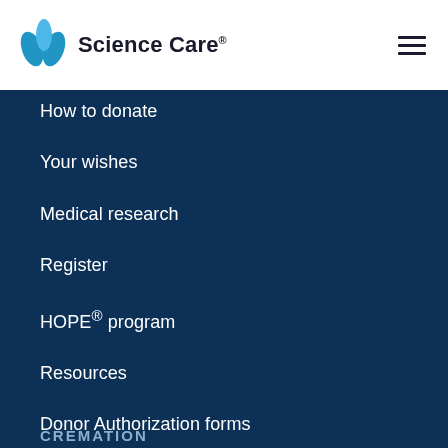[Figure (logo): Science Care logo with blue leaf/flower icon and text 'Science Care' with registered trademark symbol]
How to donate
Your wishes
Medical research
Register
HOPE® program
Resources
Donor Authorization forms
CREMATION